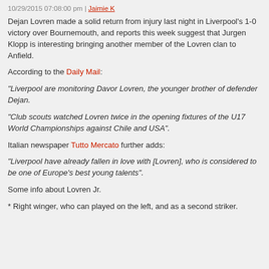10/29/2015 07:08:00 pm | Jaimie K
Dejan Lovren made a solid return from injury last night in Liverpool's 1-0 victory over Bournemouth, and reports this week suggest that Jurgen Klopp is interesting bringing another member of the Lovren clan to Anfield.
According to the Daily Mail:
"Liverpool are monitoring Davor Lovren, the younger brother of defender Dejan.
"Club scouts watched Lovren twice in the opening fixtures of the U17 World Championships against Chile and USA".
Italian newspaper Tutto Mercato further adds:
"Liverpool have already fallen in love with [Lovren], who is considered to be one of Europe's best young talents".
Some info about Lovren Jr.
* Right winger, who can played on the left, and as a second striker.